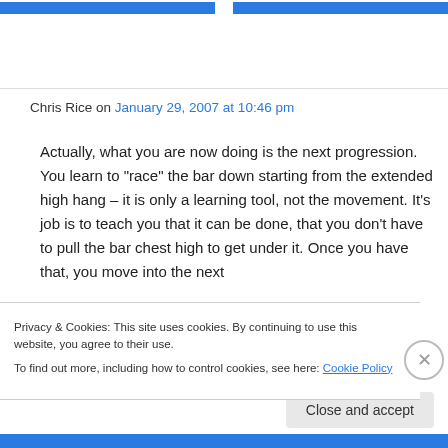Chris Rice on January 29, 2007 at 10:46 pm
Actually, what you are now doing is the next progression. You learn to “race” the bar down starting from the extended high hang – it is only a learning tool, not the movement. It’s job is to teach you that it can be done, that you don’t have to pull the bar chest high to get under it. Once you have that, you move into the next
Privacy & Cookies: This site uses cookies. By continuing to use this website, you agree to their use.
To find out more, including how to control cookies, see here: Cookie Policy